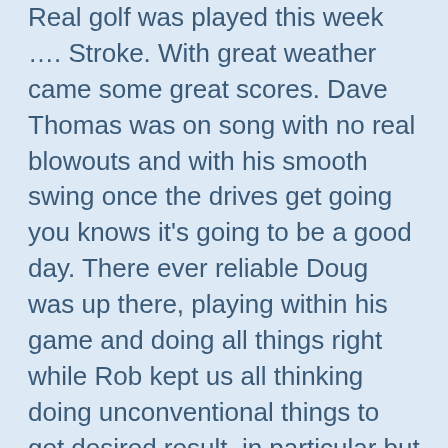Real golf was played this week …. Stroke. With great weather came some great scores. Dave Thomas was on song with no real blowouts and with his smooth swing once the drives get going you knows it's going to be a good day. There ever reliable Doug was up there, playing within his game and doing all things right while Rob kept us all thinking doing unconventional things to get desired result, in particular but not limited to taking putter off the tee on the Par 3's . It must be working though as he had a better off the stick score than myself after 12 holes.
The main focus of the day was the